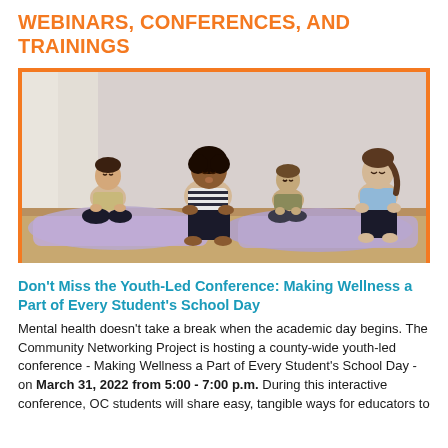WEBINARS, CONFERENCES, AND TRAININGS
[Figure (photo): Four children sitting cross-legged on purple yoga mats in a meditation pose with eyes closed, in a bright room.]
Don't Miss the Youth-Led Conference: Making Wellness a Part of Every Student's School Day
Mental health doesn't take a break when the academic day begins. The Community Networking Project is hosting a county-wide youth-led conference - Making Wellness a Part of Every Student's School Day - on March 31, 2022 from 5:00 - 7:00 p.m. During this interactive conference, OC students will share easy, tangible ways for educators to